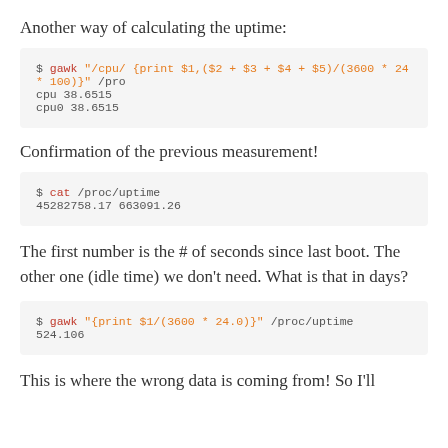Another way of calculating the uptime:
$ gawk "/cpu/ {print $1,($2 + $3 + $4 + $5)/(3600 * 24 * 100)}" /proc...
cpu 38.6515
cpu0 38.6515
Confirmation of the previous measurement!
$ cat /proc/uptime
45282758.17 663091.26
The first number is the # of seconds since last boot. The other one (idle time) we don't need. What is that in days?
$ gawk "{print $1/(3600 * 24.0)}" /proc/uptime
524.106
This is where the wrong data is coming from! So I'll